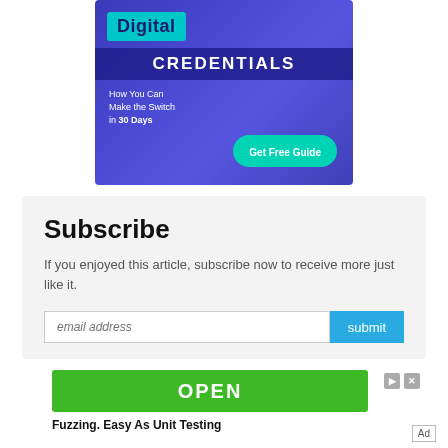[Figure (illustration): Digital Credentials advertisement banner. Teal block with 'Digital', blue banner with 'CREDENTIALS', text 'How You Can Make the Switch in 30 Days', teal button 'Get Free Guide'.]
Subscribe
If you enjoyed this article, subscribe now to receive more just like it.
[Figure (other): Green OPEN button ad with play and close icons, and text 'Fuzzing. Easy As Unit Testing']
Ad